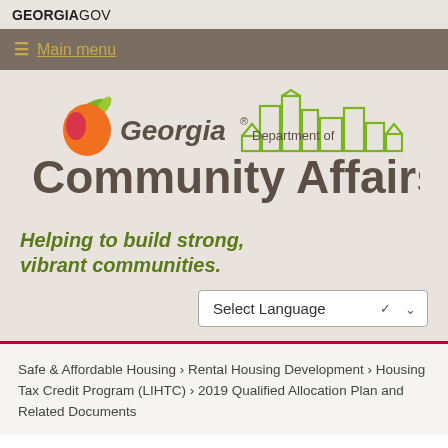GEORGIAGOV
≡ Main menu
[Figure (logo): Georgia Department of Community Affairs logo with peach/leaf icon and city skyline outline]
Helping to build strong, vibrant communities.
Select Language
Safe & Affordable Housing › Rental Housing Development › Housing Tax Credit Program (LIHTC) › 2019 Qualified Allocation Plan and Related Documents